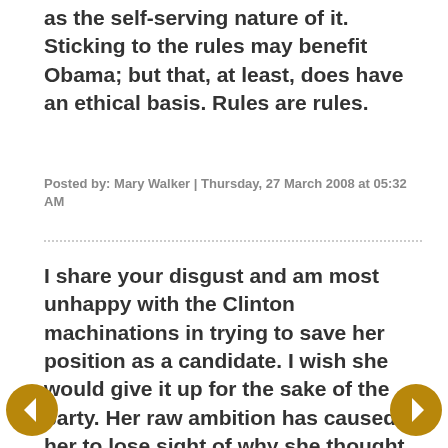as the self-serving nature of it. Sticking to the rules may benefit Obama; but that, at least, does have an ethical basis. Rules are rules.
Posted by: Mary Walker | Thursday, 27 March 2008 at 05:32 AM
I share your disgust and am most unhappy with the Clinton machinations in trying to save her position as a candidate. I wish she would give it up for the sake of the party. Her raw ambition has caused her to lose sight of why she thought she...